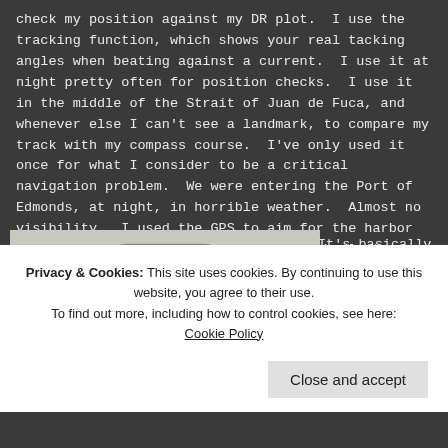check my position against my DR plot.  I use the tracking function, which shows your real tacking angles when beating against a current.  I use it at night pretty often for position checks.  I use it in the middle of the Strait of Juan de Fuca, and whenever else I can't see a landmark, to compare my track with my compass course.  I've only used it once for what I consider to be a critical navigation problem.  We were entering the Port of Edmonds, at night, in horrible weather.  Almost no visibility.  I used the GPS to aim for the harbor entrance and crossed my fingers.  At the last minute the lights showed up, right where the GPS said they would be.  Whew!
[Figure (photo): Handheld GPS device with black body, silver trim, and buttons on top half of unit]
It's basically a good unit, but I can't stand that the buttons are on top.  Every time I pick it up
Privacy & Cookies: This site uses cookies. By continuing to use this website, you agree to their use.
To find out more, including how to control cookies, see here: Cookie Policy
Close and accept